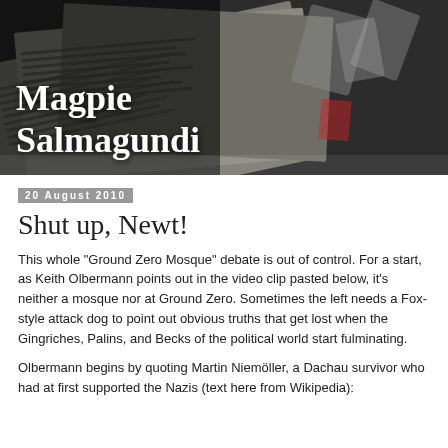[Figure (photo): Header banner image showing stacked newspapers and printing press equipment from an aerial/overhead angle, dark toned, with the blog title 'Magpie Salmagundi' overlaid in white serif font on the left side.]
Magpie Salmagundi
20 August 2010
Shut up, Newt!
This whole "Ground Zero Mosque" debate is out of control. For a start, as Keith Olbermann points out in the video clip pasted below, it's neither a mosque nor at Ground Zero. Sometimes the left needs a Fox-style attack dog to point out obvious truths that get lost when the Gingriches, Palins, and Becks of the political world start fulminating.
Olbermann begins by quoting Martin Niemöller, a Dachau survivor who had at first supported the Nazis (text here from Wikipedia):